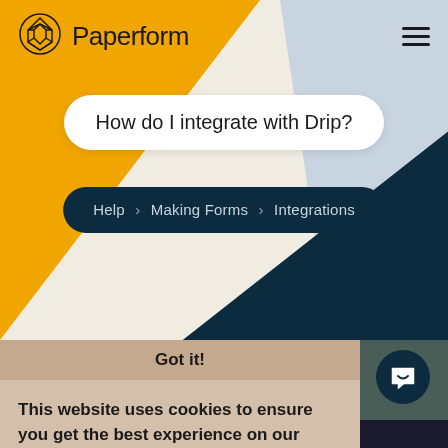[Figure (screenshot): Paperform website screenshot showing header with logo, search bar with 'How do I integrate with Drip?', breadcrumb navigation 'Help > Making Forms > Integrations', and a cookie consent banner saying 'Got it!' and 'This website uses cookies to ensure you get the best experience on our website. Learn more']
How do I integrate with Drip?
Help > Making Forms > Integrations
Got it!
This website uses cookies to ensure you get the best experience on our website.
Learn more